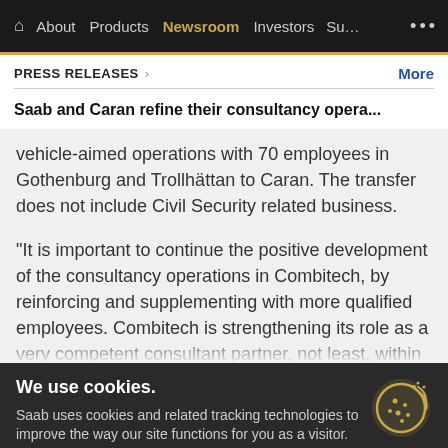Home | About | Products | Newsroom | Investors | Sus... ...
PRESS RELEASES > More
Saab and Caran refine their consultancy opera...
vehicle-aimed operations with 70 employees in Gothenburg and Trollhättan to Caran. The transfer does not include Civil Security related business.
"It is important to continue the positive development of the consultancy operations in Combitech, by reinforcing and supplementing with more qualified employees. Combitech is strengthening its role as a very competent consultant partner, not least, within the aerospace
We use cookies.

Saab uses cookies and related tracking technologies to improve the way our site functions for you as a visitor.